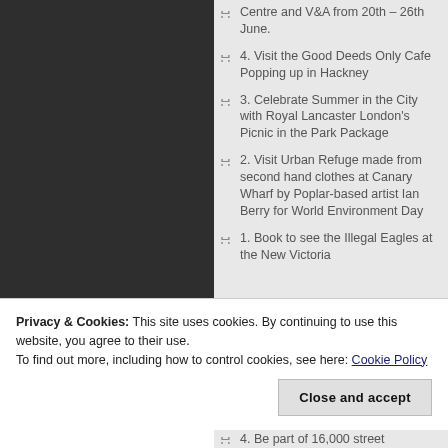Centre and V&A from 20th – 26th June.
4. Visit the Good Deeds Only Cafe Popping up in Hackney
3. Celebrate Summer in the City with Royal Lancaster London's Picnic in the Park Package
2. Visit Urban Refuge made from second hand clothes at Canary Wharf by Poplar-based artist Ian Berry for World Environment Day
1. Book to see the Illegal Eagles at the New Victoria
Privacy & Cookies: This site uses cookies. By continuing to use this website, you agree to their use.
To find out more, including how to control cookies, see here: Cookie Policy
4. Be part of 16,000 street